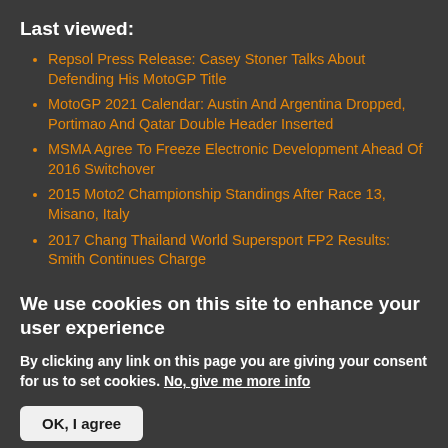Last viewed:
Repsol Press Release: Casey Stoner Talks About Defending His MotoGP Title
MotoGP 2021 Calendar: Austin And Argentina Dropped, Portimao And Qatar Double Header Inserted
MSMA Agree To Freeze Electronic Development Ahead Of 2016 Switchover
2015 Moto2 Championship Standings After Race 13, Misano, Italy
2017 Chang Thailand World Supersport FP2 Results: Smith Continues Charge
We use cookies on this site to enhance your user experience
By clicking any link on this page you are giving your consent for us to set cookies. No, give me more info
OK, I agree